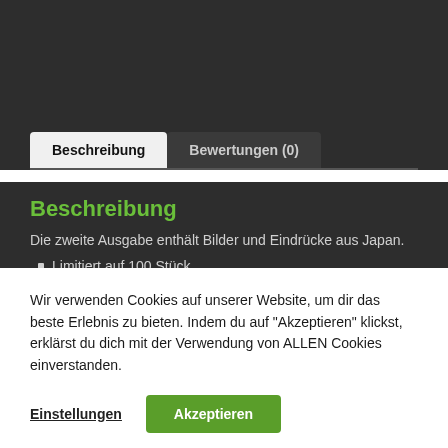Beschreibung
Die zweite Ausgabe enthält Bilder und Eindrücke aus Japan.
Limitiert auf 100 Stück
Wir verwenden Cookies auf unserer Website, um dir das beste Erlebnis zu bieten. Indem du auf "Akzeptieren" klickst, erklärst du dich mit der Verwendung von ALLEN Cookies einverstanden.
Einstellungen   Akzeptieren